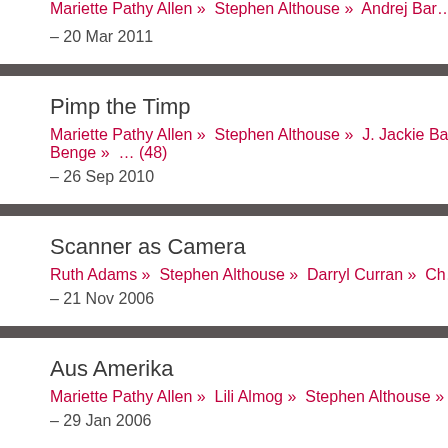Mariette Pathy Allen » Stephen Althouse » Andrej Bar... – 20 Mar 2011
Pimp the Timp
Mariette Pathy Allen » Stephen Althouse » J. Jackie Ba... Benge » … (48)
– 26 Sep 2010
Scanner as Camera
Ruth Adams » Stephen Althouse » Darryl Curran » Ch...
– 21 Nov 2006
Aus Amerika
Mariette Pathy Allen » Lili Almog » Stephen Althouse »
– 29 Jan 2006